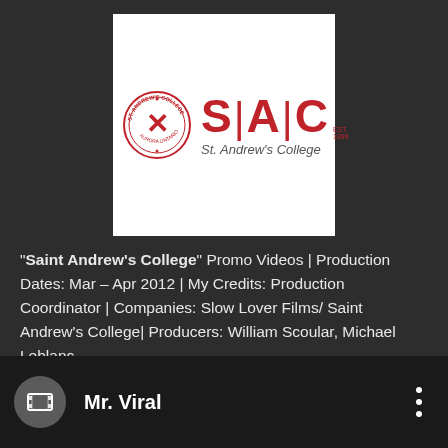[Figure (logo): St. Andrew's College (SAC) logo — circular red seal on left, large red 'S|A|C' letters with 'EST. 1899' and 'St. Andrew's College' text on right, on white background]
"Saint Andrew's College" Promo Videos | Production Dates: Mar – Apr 2012 | My Credits: Production Coordinator | Companies: Slow Lover Films/ Saint Andrew's College| Producers: William Scoular, Michael Leblanc
[Figure (screenshot): Video listing thumbnail showing film icon in grey circle, 'Mr. Viral' title text, three-dot menu icon, and partial video thumbnail strip with 'MR. VIRAL' text at bottom]